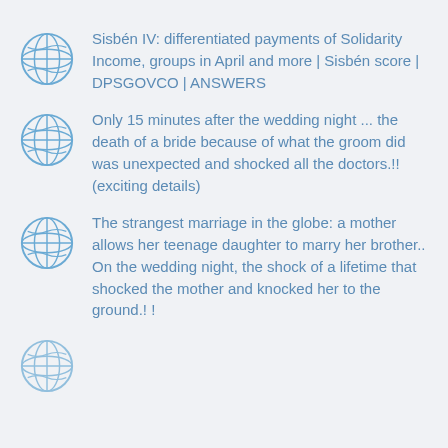Sisbén IV: differentiated payments of Solidarity Income, groups in April and more | Sisbén score | DPSGOVCO | ANSWERS
Only 15 minutes after the wedding night ... the death of a bride because of what the groom did was unexpected and shocked all the doctors.!! (exciting details)
The strangest marriage in the globe: a mother allows her teenage daughter to marry her brother.. On the wedding night, the shock of a lifetime that shocked the mother and knocked her to the ground.! !